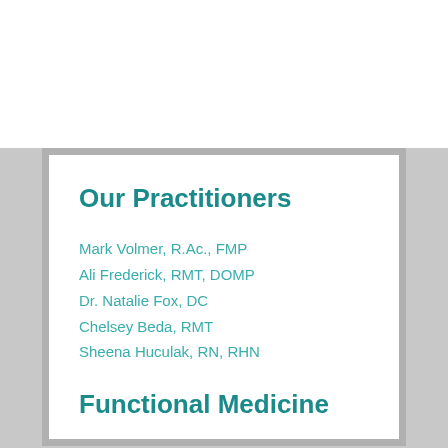Our Practitioners
Mark Volmer, R.Ac., FMP
Ali Frederick, RMT, DOMP
Dr. Natalie Fox, DC
Chelsey Beda, RMT
Sheena Huculak, RN, RHN
Functional Medicine